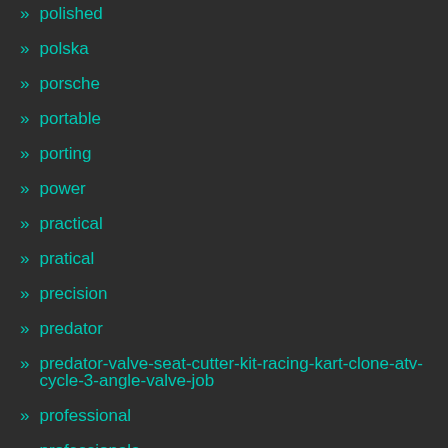» polished
» polska
» porsche
» portable
» porting
» power
» practical
» pratical
» precision
» predator
» predator-valve-seat-cutter-kit-racing-kart-clone-atv-cycle-3-angle-valve-job
» professional
» professionals